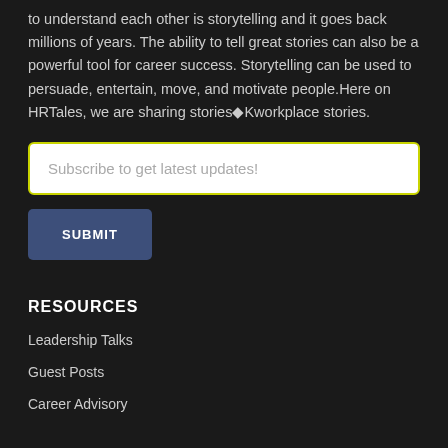to understand each other is storytelling and it goes back millions of years. The ability to tell great stories can also be a powerful tool for career success. Storytelling can be used to persuade, entertain, move, and motivate people.Here on HRTales, we are sharing stories◆Kworkplace stories.
Subscribe to get latest updates!
SUBMIT
RESOURCES
Leadership Talks
Guest Posts
Career Advisory